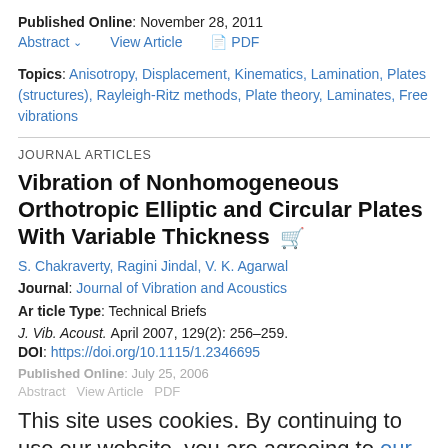Published Online: November 28, 2011
Abstract  View Article  PDF
Topics: Anisotropy, Displacement, Kinematics, Lamination, Plates (structures), Rayleigh-Ritz methods, Plate theory, Laminates, Free vibrations
JOURNAL ARTICLES
Vibration of Nonhomogeneous Orthotropic Elliptic and Circular Plates With Variable Thickness
S. Chakraverty, Ragini Jindal, V. K. Agarwal
Journal: Journal of Vibration and Acoustics
Article Type: Technical Briefs
J. Vib. Acoust. April 2007, 129(2): 256–259.
DOI: https://doi.org/10.1115/1.2346695
Published Online: July 25, 2006
This site uses cookies. By continuing to use our website, you are agreeing to our privacy policy. Accept
Topics: Plates (structures), Polynomials, Rayleigh-Ritz methods, Shear modulus, vibration, Boundary value problems, Boundary conditions, Elasticity